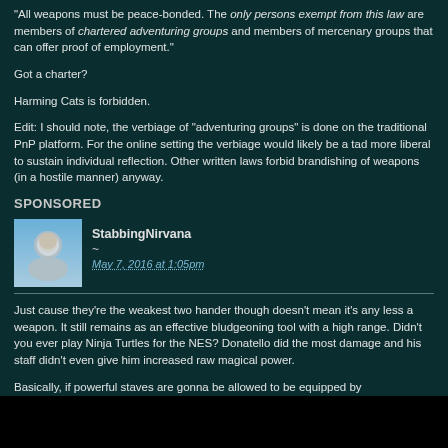"All weapons must be peace-bonded. The only persons exempt from this law are members of chartered adventuring groups and members of mercenary groups that can offer proof of employment."
Got a charter?
Harming Cats is forbidden.
Edit: I should note, the verbiage of "adventuring groups" is done on the traditional PnP platform. For the online setting the verbiage would likely be a tad more liberal to sustain individual reflection. Other written laws forbid brandishing of weapons (in a hostile manner) anyway.
SPONSORED
StabbingNirvana
~
May 7, 2016 at 1:05pm
Just cause they're the weakest two hander though doesn't mean it's any less a weapon. It still remains as an effective bludgeoning tool with a high range. Didn't you ever play Ninja Turtles for the NES? Donatello did the most damage and his staff didn't even give him increased raw magical power.
Basically, if powerful staves are gonna be allowed to be equipped by